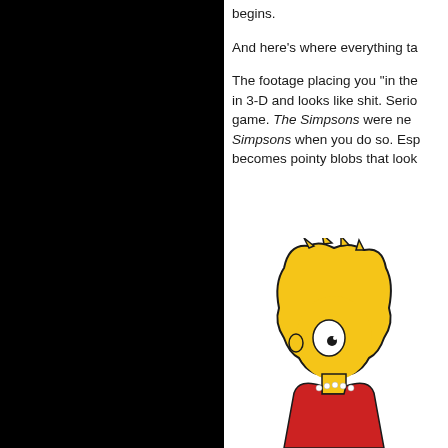begins.
And here's where everything ta…
The footage placing you "in the… in 3-D and looks like shit. Serio… game. The Simpsons were ne… Simpsons when you do so. Esp… becomes pointy blobs that look…
[Figure (illustration): Cartoon illustration of a Simpsons character (Lisa Simpson) shown from the shoulders up, with yellow skin, large eyes, and star-shaped hair, in the style of The Simpsons animated series.]